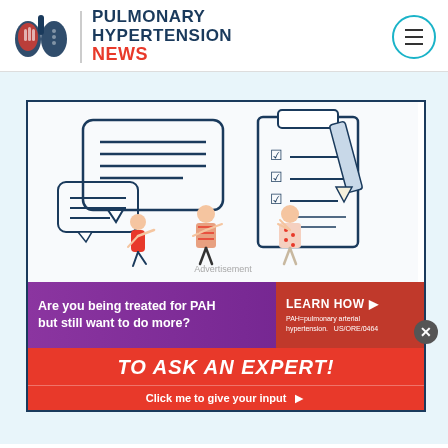[Figure (logo): Pulmonary Hypertension News logo with lung illustration and text]
[Figure (illustration): Illustrated scene of people discussing a checklist with speech bubbles, pen, and clipboard. Advertisement overlay at bottom with text 'Are you being treated for PAH but still want to do more?' with a 'LEARN HOW' button. PAH=pulmonary arterial hypertension. US/ORE/0464]
TO ASK AN EXPERT!
Click me to give your input